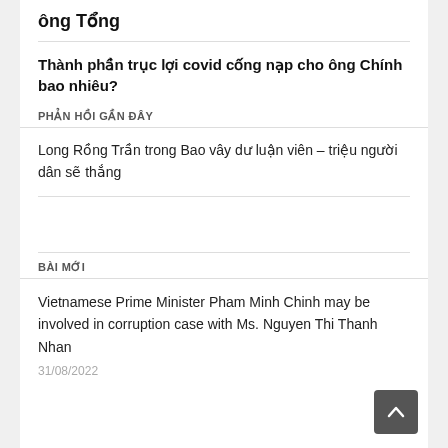ông Tổng
Thành phần trục lợi covid cống nạp cho ông Chính bao nhiêu?
PHẢN HỒI GẦN ĐÂY
Long Rồng Trần trong Bao vây dư luận viên – triệu người dân sẽ thắng
BÀI MỚI
Vietnamese Prime Minister Pham Minh Chinh may be involved in corruption case with Ms. Nguyen Thi Thanh Nhan
31/08/2022